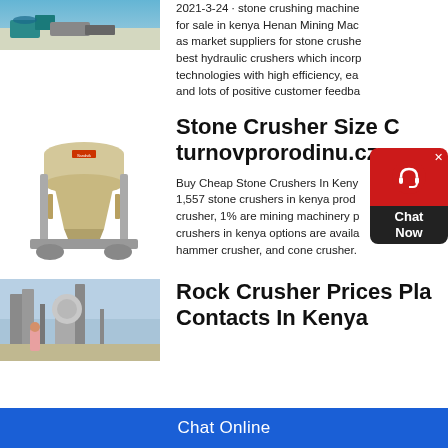[Figure (photo): Top image of stone crushing machinery/quarry]
2021-3-24 · stone crushing machine for sale in kenya Henan Mining Mac... as market suppliers for stone crushe... best hydraulic crushers which incorp... technologies with high efficiency, ea... and lots of positive customer feedba...
Stone Crusher Size C... turnovprorodinu.cz
[Figure (photo): Stone crusher machine (cone crusher) in beige/cream color]
Buy Cheap Stone Crushers In Keny... 1,557 stone crushers in kenya prod... crusher, 1% are mining machinery p... crushers in kenya options are availa... hammer crusher, and cone crusher.
Rock Crusher Prices Pla... Contacts In Kenya
[Figure (photo): Rock crusher plant in Kenya - industrial machinery]
[Figure (other): Chat widget - red bubble with headset icon and Chat Now text]
Chat Online